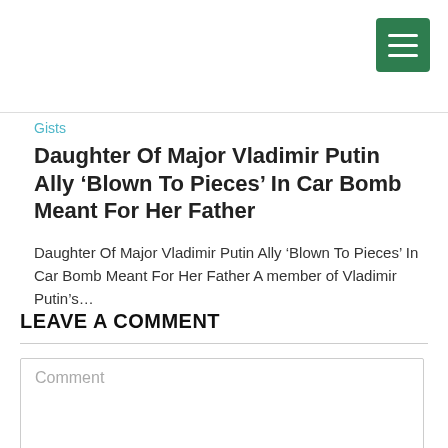[Figure (screenshot): Green hamburger menu button (three white horizontal lines) in top-right corner]
Gists
Daughter Of Major Vladimir Putin Ally ‘Blown To Pieces’ In Car Bomb Meant For Her Father
Daughter Of Major Vladimir Putin Ally ‘Blown To Pieces’ In Car Bomb Meant For Her Father A member of Vladimir Putin’s…
LEAVE A COMMENT
Comment